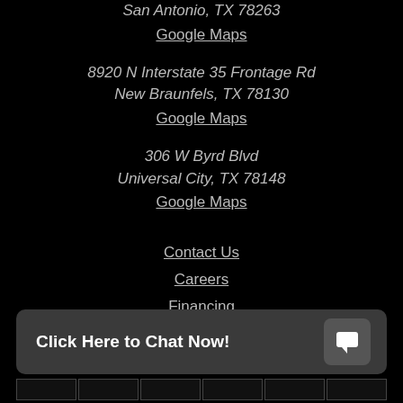San Antonio, TX 78263
Google Maps
8920 N Interstate 35 Frontage Rd
New Braunfels, TX 78130
Google Maps
306 W Byrd Blvd
Universal City, TX 78148
Google Maps
Contact Us
Careers
Financing
Service Area
Click Here to Chat Now!